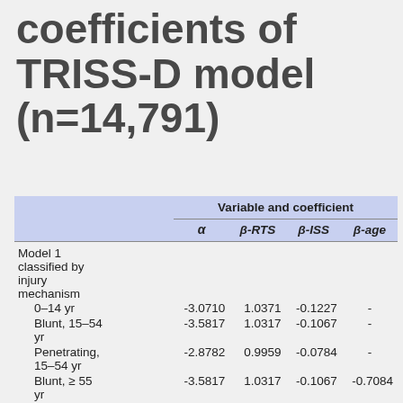coefficients of TRISS-D model (n=14,791)
|  | Variable and coefficient |  |  |  |
| --- | --- | --- | --- | --- |
|  | α | β-RTS | β-ISS | β-age |
| Model 1 classified by injury mechanism |  |  |  |  |
| 0–14 yr | -3.0710 | 1.0371 | -0.1227 | - |
| Blunt, 15–54 yr | -3.5817 | 1.0317 | -0.1067 | - |
| Penetrating, 15–54 yr | -2.8782 | 0.9959 | -0.0784 | - |
| Blunt, ≥ 55 yr | -3.5817 | 1.0317 | -0.1067 | -0.7084 |
| Penetrating, ≥ 55 yr | -2.8782 | 0.9959 | -0.0784 | -0.3757 |
| Model |  |  |  |  |